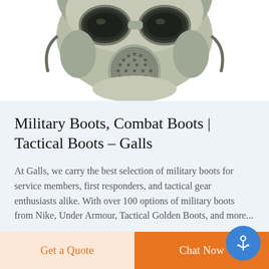[Figure (photo): Close-up photograph of a military gas mask, olive/grey-green color, with large goggle-style eye lenses and a circular filter canister in the center front. White background.]
Military Boots, Combat Boots | Tactical Boots – Galls
At Galls, we carry the best selection of military boots for service members, first responders, and tactical gear enthusiasts alike. With over 100 options of military boots from Nike, Under Armour, Tactical Golden Boots, and more...